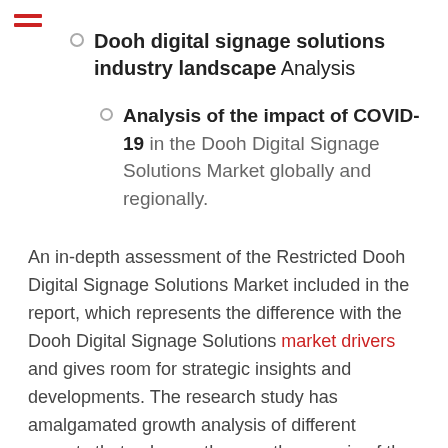Dooh digital signage solutions industry landscape Analysis
Analysis of the impact of COVID-19 in the Dooh Digital Signage Solutions Market globally and regionally.
An in-depth assessment of the Restricted Dooh Digital Signage Solutions Market included in the report, which represents the difference with the Dooh Digital Signage Solutions market drivers and gives room for strategic insights and developments. The research study has amalgamated growth analysis of different aspects that enhance the growth scenario of the market. It constitutes the major market drivers, restraints and trends that are transforming the market positively or negatively.